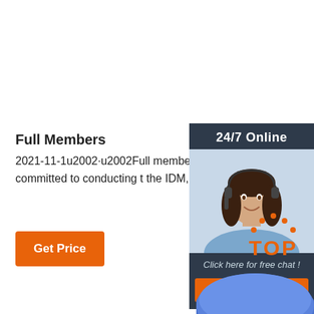Full Members
2021-11-1u2002·u2002Full membership to the IDM researchers who are fully committed to conducting t the IDM, preferably accommodated in the IDM ...
Get Price
[Figure (photo): Customer service representative widget with '24/7 Online' header, photo of a smiling woman with headset, 'Click here for free chat !' text, and orange QUOTATION button]
[Figure (logo): Orange TOP badge with dotted arc above the word TOP in orange bold text]
[Figure (photo): Partial view of a blue object at the bottom of the page]